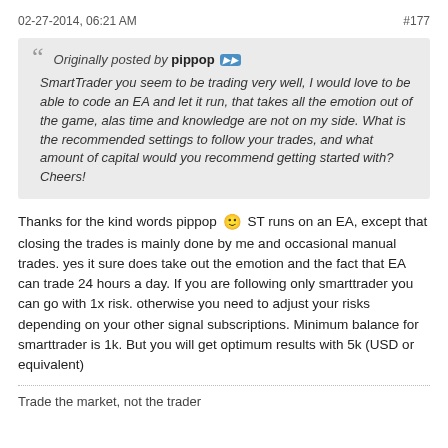02-27-2014, 06:21 AM    #177
Originally posted by pippop
SmartTrader you seem to be trading very well, I would love to be able to code an EA and let it run, that takes all the emotion out of the game, alas time and knowledge are not on my side. What is the recommended settings to follow your trades, and what amount of capital would you recommend getting started with? Cheers!
Thanks for the kind words pippop 🙂 ST runs on an EA, except that closing the trades is mainly done by me and occasional manual trades. yes it sure does take out the emotion and the fact that EA can trade 24 hours a day. If you are following only smarttrader you can go with 1x risk. otherwise you need to adjust your risks depending on your other signal subscriptions. Minimum balance for smarttrader is 1k. But you will get optimum results with 5k (USD or equivalent)
Trade the market, not the trader